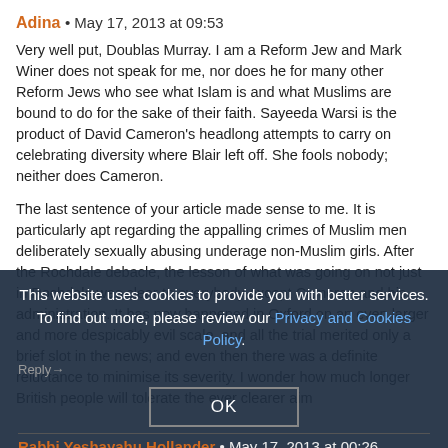Adina • May 17, 2013 at 09:53
Very well put, Doublas Murray. I am a Reform Jew and Mark Winer does not speak for me, nor does he for many other Reform Jews who see what Islam is and what Muslims are bound to do for the sake of their faith. Sayeeda Warsi is the product of David Cameron's headlong attempts to carry on celebrating diversity where Blair left off. She fools nobody; neither does Cameron.
The last sentence of your article made sense to me. It is particularly apt regarding the appalling crimes of Muslim men deliberately sexually abusing underage non-Muslim girls. After the Rochdale debacle, the lesson of what was going on not just in Rochdale was clear to everybody except Cameron and his administration. It has now happened in Oxford on an even larger and more despicably evil scale, and all the trial merited only a brief slot in the news; and even then there was a definite reluctance to minimise its severity. I wonder how much longer British people will tolerate the ever clearer aim of this government to destroy everything we stand for in establishing the dhimmi relationship...
This website uses cookies to provide you with better services. To find out more, please review our Privacy and Cookies Policy.
OK
Rabbi Yeshayahu Hollander • May 17, 2013 at 00:26